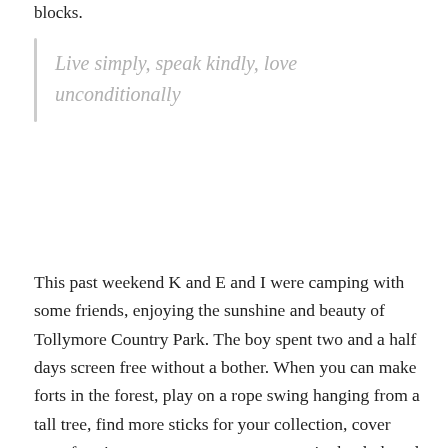blocks.
Live simply, speak kindly, love unconditionally
This past weekend K and E and I were camping with some friends, enjoying the sunshine and beauty of Tollymore Country Park. The boy spent two and a half days screen free without a bother. When you can make forts in the forest, play on a rope swing hanging from a tall tree, find more sticks for your collection, cover your face in soot so no-one can see you in the dark and swim in icy mountain rivers, then who needs screens? I love that simplicity. But life back home isn't like that. Can't be